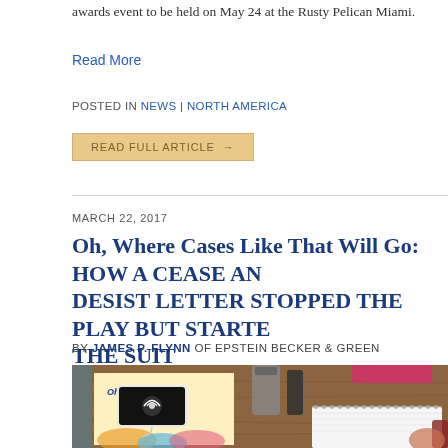awards event to be held on May 24 at the Rusty Pelican Miami.
Read More
POSTED IN NEWS | NORTH AMERICA
READ FULL ARTICLE →
MARCH 22, 2017
Oh, Where Cases Like That Will Go: HOW A CEASE AND DESIST LETTER STOPPED THE PLAY BUT STARTED THE SUIT
BY JAMES P. FLYNN OF EPSTEIN BECKER & GREEN
[Figure (photo): Photo of a phone placed on top of an 'Oh, the Places' book on a wooden table, with a notebook and other objects visible]